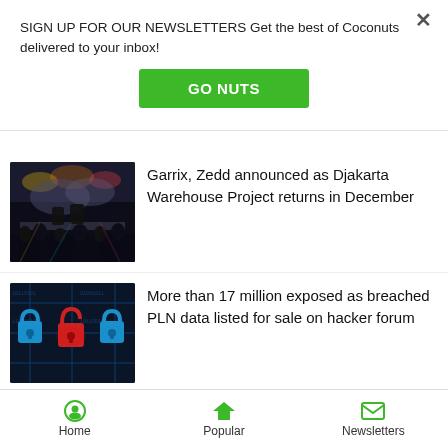SIGN UP FOR OUR NEWSLETTERS Get the best of Coconuts delivered to your inbox!
GO NUTS
[Figure (photo): Concert stage scene with DJs performing, crowd visible below, smoke and lights in background]
Garrix, Zedd announced as Djakarta Warehouse Project returns in December
[Figure (photo): Digital security concept: multiple padlocks on circuit board background, one red padlock open among blue padlocks representing a data breach]
More than 17 million exposed as breached PLN data listed for sale on hacker forum
[Figure (photo): Dark banner with green glowing Coconuts logo/branding]
Home  Popular  Newsletters